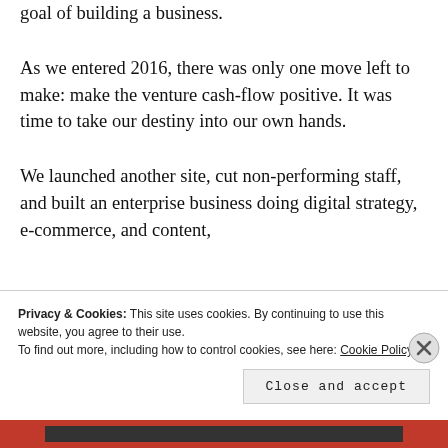goal of building a business.
As we entered 2016, there was only one move left to make: make the venture cash-flow positive. It was time to take our destiny into our own hands.
We launched another site, cut non-performing staff, and built an enterprise business doing digital strategy, e-commerce, and content,
Privacy & Cookies: This site uses cookies. By continuing to use this website, you agree to their use.
To find out more, including how to control cookies, see here: Cookie Policy
Close and accept